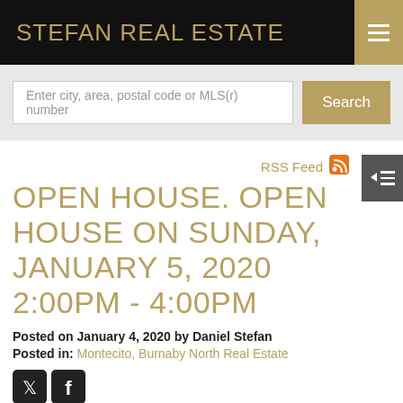STEFAN REAL ESTATE
Enter city, area, postal code or MLS(r) number
RSS Feed
OPEN HOUSE. OPEN HOUSE ON SUNDAY, JANUARY 5, 2020 2:00PM - 4:00PM
Posted on January 4, 2020 by Daniel Stefan
Posted in: Montecito, Burnaby North Real Estate
[Figure (logo): Twitter and Facebook social share icons (dark square buttons)]
[Figure (illustration): Green open house ribbon/badge partially visible at bottom of page]